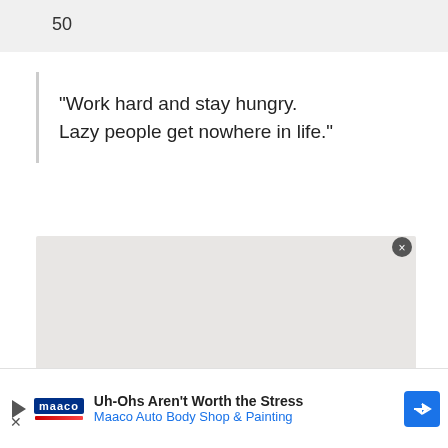50
“Work hard and stay hungry. Lazy people get nowhere in life.”
[Figure (other): Gray placeholder box, likely an image or advertisement placeholder region]
Uh-Ohs Aren't Worth the Stress Maaco Auto Body Shop & Painting